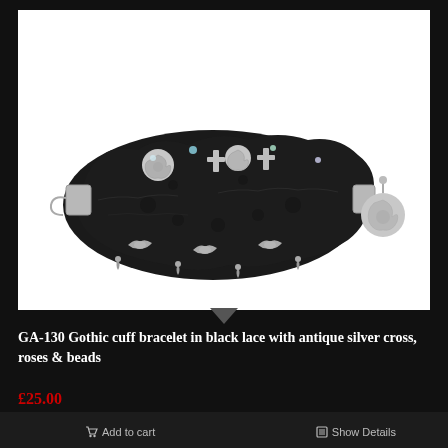[Figure (photo): A gothic cuff bracelet made of black lace adorned with antique silver cross charms, roses, bird charms, and crystal beads, displayed against a white background. A separate silver rose charm is visible to the right.]
GA-130 Gothic cuff bracelet in black lace with antique silver cross, roses & beads
£25.00
Add to cart
Show Details